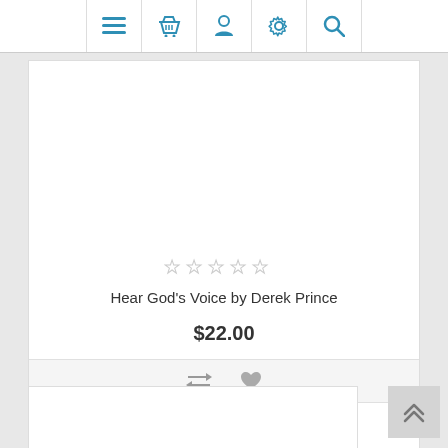[Figure (screenshot): Navigation bar with icons: hamburger menu, basket/cart, user profile, settings gear, and search magnifier — all in blue on white background]
[Figure (other): Empty product image area (white)]
[Figure (other): Five empty star rating icons in light gray]
Hear God's Voice by Derek Prince
$22.00
[Figure (other): Compare (arrows) icon and heart/wishlist icon in gray]
ADD TO CART
[Figure (other): Second product card partial view (white box)]
[Figure (other): Scroll-to-top button with double chevron up arrow]